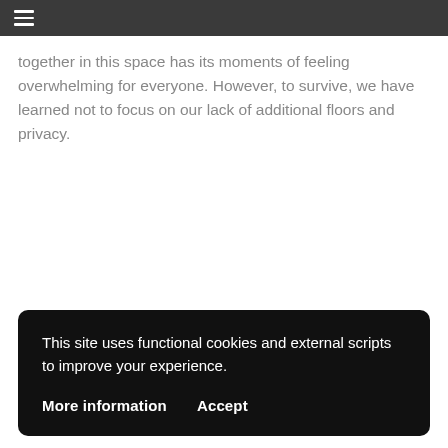☰
together in this space has its moments of feeling overwhelming for everyone. However, to survive, we have learned not to focus on our lack of additional floors and privacy.
This site uses functional cookies and external scripts to improve your experience.
More information     Accept